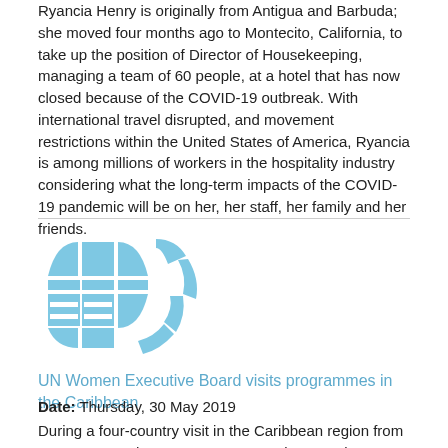Ryancia Henry is originally from Antigua and Barbuda; she moved four months ago to Montecito, California, to take up the position of Director of Housekeeping, managing a team of 60 people, at a hotel that has now closed because of the COVID-19 outbreak. With international travel disrupted, and movement restrictions within the United States of America, Ryancia is among millions of workers in the hospitality industry considering what the long-term impacts of the COVID-19 pandemic will be on her, her staff, her family and her friends.
[Figure (logo): UN Women logo — a stylized globe/laurel design in light blue]
UN Women Executive Board visits programmes in the Caribbean
Date: Thursday, 30 May 2019
During a four-country visit in the Caribbean region from 18 to 23 May, the UN Women Executive Board discussed measures to improve court processes to assist survivors of gender-based violence; observed initiatives at work to identify and mitigate the gendered risks of natural disasters; and emphasized their support